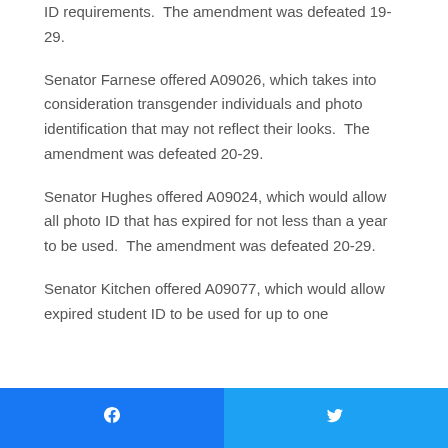ID requirements.  The amendment was defeated 19-29.
Senator Farnese offered A09026, which takes into consideration transgender individuals and photo identification that may not reflect their looks.  The amendment was defeated 20-29.
Senator Hughes offered A09024, which would allow all photo ID that has expired for not less than a year to be used.  The amendment was defeated 20-29.
Senator Kitchen offered A09077, which would allow expired student ID to be used for up to one
[Figure (other): Social sharing buttons: Facebook (blue) on the left and Twitter (blue) on the right]